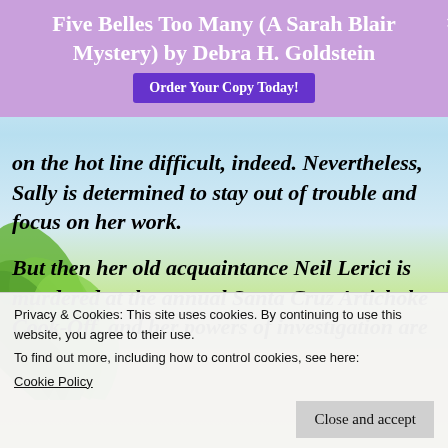[Figure (screenshot): Beach background with blue sky, water, sandy shore, and palm leaf in lower left]
Five Belles Too Many (A Sarah Blair Mystery) by Debra H. Goldstein
Order Your Copy Today!
on the hot line difficult, indeed. Nevertheless, Sally is determined to stay out of trouble and focus on her work.
But then her old acquaintance Neil Lerici is murdered at the annual Santa Cruz Artichoke Cook-Off, and her powers of investigation are
Privacy & Cookies: This site uses cookies. By continuing to use this website, you agree to their use. To find out more, including how to control cookies, see here: Cookie Policy
Close and accept
developer?